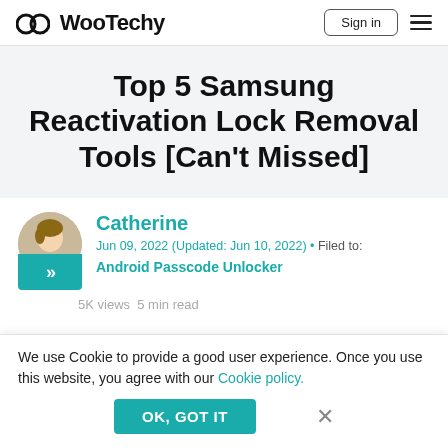WooTechy | Sign in
Top 5 Samsung Reactivation Lock Removal Tools [Can't Missed]
Catherine
Jun 09, 2022 (Updated: Jun 10, 2022) • Filed to: Android Passcode Unlocker
5K views  5 min read
We use Cookie to provide a good user experience. Once you use this website, you agree with our Cookie policy.
OK, GOT IT